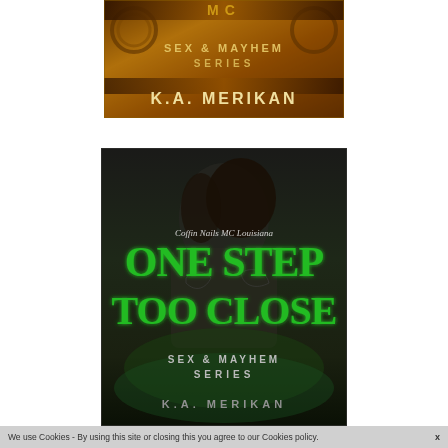[Figure (illustration): Top book cover for an MC romance novel in the Sex & Mayhem Series by K.A. Merikan. Dark golden-brown background with decorative elements. Shows 'MC', 'SEX & MAYHEM SERIES', and 'K.A. MERIKAN' text.]
[Figure (illustration): Main book cover for 'One Step Too Close' - Coffin Nails MC Louisiana, Sex & Mayhem Series by K.A. Merikan. Dark background with a shirtless tattooed man with long hair. Title text in large green decorative letters.]
We use Cookies - By using this site or closing this you agree to our Cookies policy.